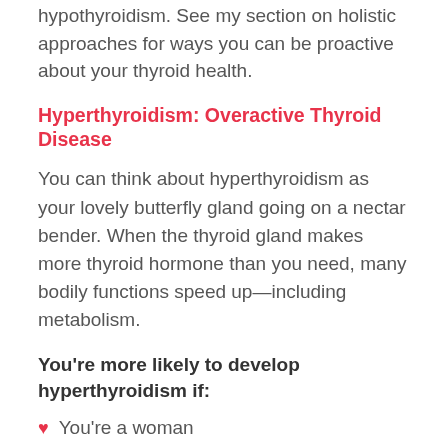hypothyroidism. See my section on holistic approaches for ways you can be proactive about your thyroid health.
Hyperthyroidism: Overactive Thyroid Disease
You can think about hyperthyroidism as your lovely butterfly gland going on a nectar bender. When the thyroid gland makes more thyroid hormone than you need, many bodily functions speed up—including metabolism.
You're more likely to develop hyperthyroidism if:
You're a woman
You're over age 60
You have a family history of thyroid disease